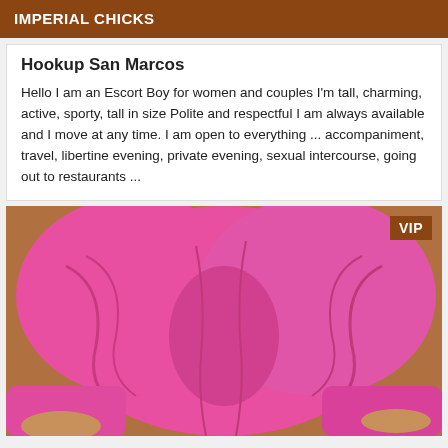IMPERIAL CHICKS
Hookup San Marcos
Hello I am an Escort Boy for women and couples I'm tall, charming, active, sporty, tall in size Polite and respectful I am always available and I move at any time. I am open to everything ... accompaniment, travel, libertine evening, private evening, sexual intercourse, going out to restaurants ...
[Figure (photo): Photo of a person in a pink dress, with VIP badge overlay in the top right corner.]